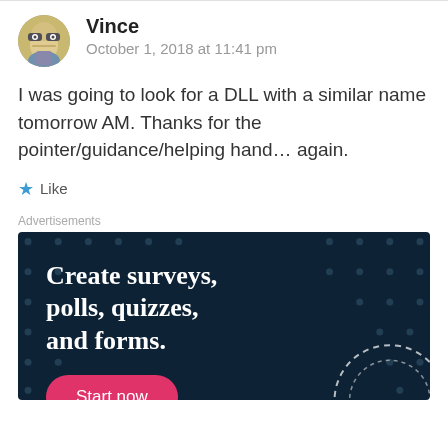[Figure (photo): Horizontal divider line at top of page]
[Figure (photo): Circular avatar image of a cartoon/illustrated character (Vince) with glasses]
Vince
October 1, 2018 at 11:41 pm
I was going to look for a DLL with a similar name tomorrow AM. Thanks for the pointer/guidance/helping hand… again.
Like
Advertisements
[Figure (infographic): Dark blue advertisement banner with dots pattern. Headline: 'Create surveys, polls, quizzes, and forms.' with a pink 'Start now' button and a partial circular graphic at bottom right.]